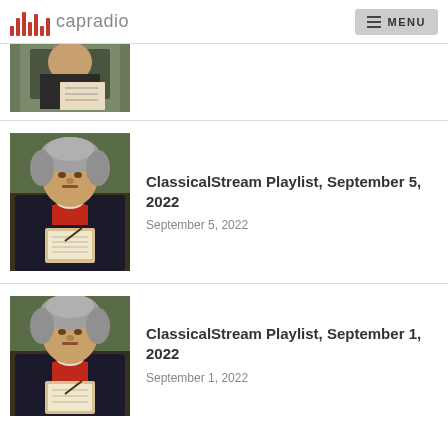capradio | MENU
[Figure (photo): Partial thumbnail of a classical figure writing, cropped at top]
[Figure (photo): Portrait painting of Beethoven holding sheet music, wearing red cravat and dark coat]
ClassicalStream Playlist, September 5, 2022
September 5, 2022
[Figure (photo): Portrait painting of Beethoven holding sheet music, wearing red cravat and dark coat (second instance)]
ClassicalStream Playlist, September 1, 2022
September 1, 2022